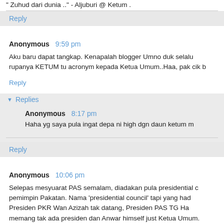" Zuhud dari dunia .." - Aljuburi @ Ketum .
Reply
Anonymous  9:59 pm
Aku baru dapat tangkap. Kenapalah blogger Umno duk selalu rupanya KETUM tu acronym kepada Ketua Umum..Haa, pak cik b
Reply
Replies
Anonymous  8:17 pm
Haha yg saya pula ingat depa ni high dgn daun ketum m
Reply
Anonymous  10:06 pm
Selepas mesyuarat PAS semalam, diadakan pula presidential c pemimpin Pakatan. Nama 'presidential council' tapi yang had Presiden PKR Wan Azizah tak datang, Presiden PAS TG Ha memang tak ada presiden dan Anwar himself just Ketua Umum.